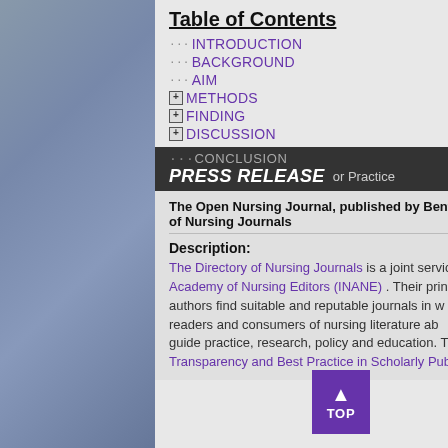Table of Contents
INTRODUCTION
BACKGROUND
AIM
METHODS
FINDING
DISCUSSION
CONCLUSION
PRESS RELEASE
Implications for Practice
The Open Nursing Journal, published by Bentham Open, is indexed in the Directory of Nursing Journals
Description:
The Directory of Nursing Journals is a joint service of the International Academy of Nursing Editors (INANE) . Their primary goal is to help authors find suitable and reputable journals in which to publish, and to help readers and consumers of nursing literature about the journals used to guide practice, research, policy and education. The Directory promotes Transparency and Best Practice in Scholarly Publishing.